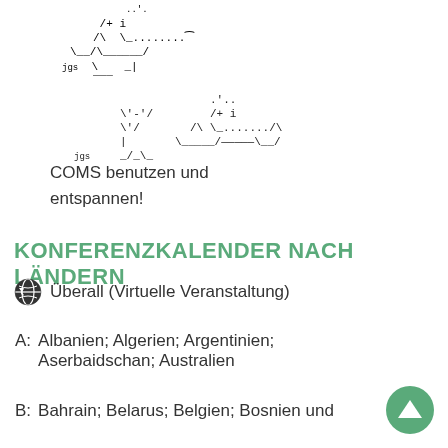[Figure (illustration): ASCII art of a cocktail glass and a rubber duck in water, with signature 'jgs']
COMS benutzen und entspannen!
KONFERENZKALENDER NACH LÄNDERN
Überall (Virtuelle Veranstaltung)
A: Albanien; Algerien; Argentinien; Aserbaidschan; Australien
B: Bahrain; Belarus; Belgien; Bosnien und